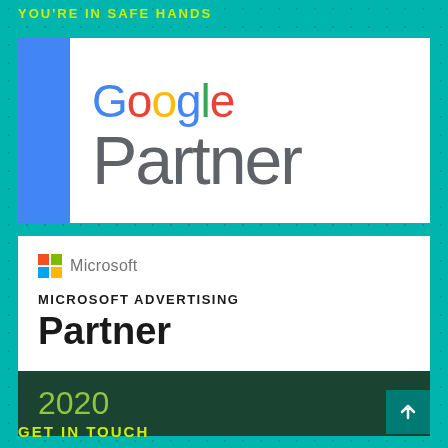YOU'RE IN SAFE HANDS
[Figure (logo): Google Partner badge with blue stripe on left and Google Partner text]
[Figure (logo): Microsoft Advertising Partner 2020 badge with Microsoft logo, 'MICROSOFT ADVERTISING Partner' text and dark green 2020 banner]
GET IN TOUCH